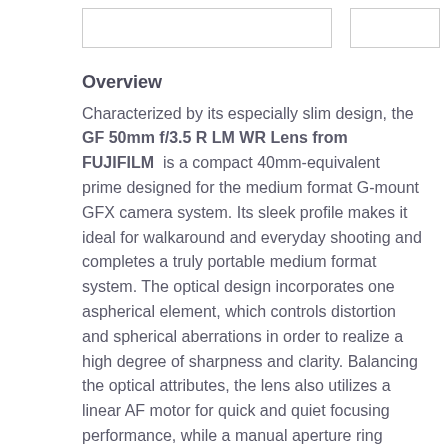Overview
Characterized by its especially slim design, the GF 50mm f/3.5 R LM WR Lens from FUJIFILM is a compact 40mm-equivalent prime designed for the medium format G-mount GFX camera system. Its sleek profile makes it ideal for walkaround and everyday shooting and completes a truly portable medium format system. The optical design incorporates one aspherical element, which controls distortion and spherical aberrations in order to realize a high degree of sharpness and clarity. Balancing the optical attributes, the lens also utilizes a linear AF motor for quick and quiet focusing performance, while a manual aperture ring